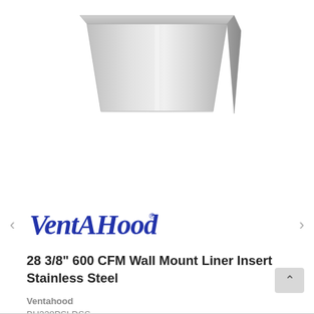[Figure (photo): Stainless steel wall mount range hood / liner insert, trapezoidal shape, viewed from front-angle perspective]
[Figure (logo): VentAHood brand logo in blue cursive/script font with registered trademark symbol]
28 3/8" 600 CFM Wall Mount Liner Insert Stainless Steel
Ventahood
BH228PSLDSS
Our Price $1,704.99
See Details